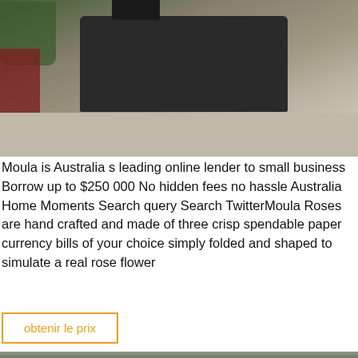[Figure (photo): Industrial heavy machinery (large grey machine/crusher) on a concrete surface, with red stacked equipment on the left and trees in the background]
Moula is Australia s leading online lender to small business Borrow up to $250 000 No hidden fees no hassle Australia Home Moments Search query Search TwitterMoula Roses are hand crafted and made of three crisp spendable paper currency bills of your choice simply folded and shaped to simulate a real rose flower
obtenir le prix
[Figure (photo): Industrial heavy equipment and trucks parked outside a large factory/warehouse building]